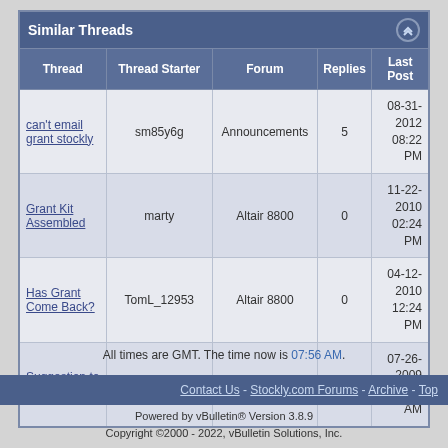| Thread | Thread Starter | Forum | Replies | Last Post |
| --- | --- | --- | --- | --- |
| can't email grant stockly | sm85y6g | Announcements | 5 | 08-31-2012 08:22 PM |
| Grant Kit Assembled | marty | Altair 8800 | 0 | 11-22-2010 02:24 PM |
| Has Grant Come Back? | TomL_12953 | Altair 8800 | 0 | 04-12-2010 12:24 PM |
| Suggestion to Grant | lovenewyawkcity | Altair 8800 | 1 | 07-26-2009 08:52 AM |
All times are GMT. The time now is 07:56 AM.
Contact Us - Stockly.com Forums - Archive - Top
Powered by vBulletin® Version 3.8.9
Copyright ©2000 - 2022, vBulletin Solutions, Inc.